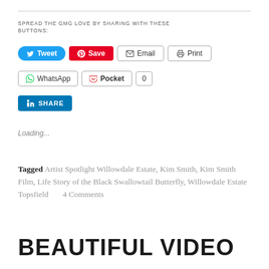SPREAD THE GMG LOVE BY SHARING WITH THESE BUTTONS:
[Figure (other): Social sharing buttons: Tweet, Save, Email, Print, WhatsApp, Pocket (0), LinkedIn SHARE]
Loading...
Tagged Artist Spotlight Willowdale Estate, Kim Smith, Kim Smith Film, Life Story of the Black Swallowtail Butterfly, Willowdale Estate Topsfield 4 Comments
BEAUTIFUL VIDEO